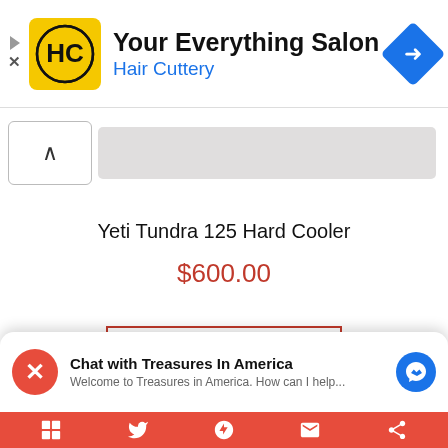[Figure (screenshot): Hair Cuttery ad banner with yellow HC logo, title 'Your Everything Salon', subtitle 'Hair Cuttery' in blue, and blue navigation diamond icon on right]
[Figure (photo): Partial product image of Yeti Tundra 125 Hard Cooler showing white/light gray cooler top with up-arrow scroll button on left]
Yeti Tundra 125 Hard Cooler
$600.00
[Figure (screenshot): Shop Full Store button with red border]
[Figure (screenshot): Chat with Treasures In America widget with red X close button, text 'Chat with Treasures In America' and 'Welcome to Treasures in America. How can I help...' and blue messenger icon]
Bottom navigation bar with social/share icons